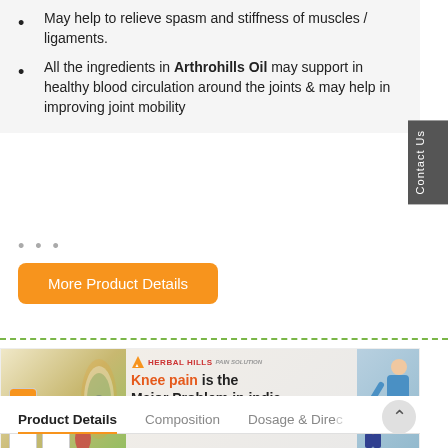May help to relieve spasm and stiffness of muscles / ligaments.
All the ingredients in Arthrohills Oil may support in healthy blood circulation around the joints & may help in improving joint mobility
...
More Product Details
[Figure (infographic): Herbal Hills banner showing Joint Support products, India map outline with flag colors, bold text 'Knee pain is the Major Problem in india knee pain medicine', Herbal Hills logo, and a person receiving knee treatment on the right side.]
Product Details    Composition    Dosage & Dire...